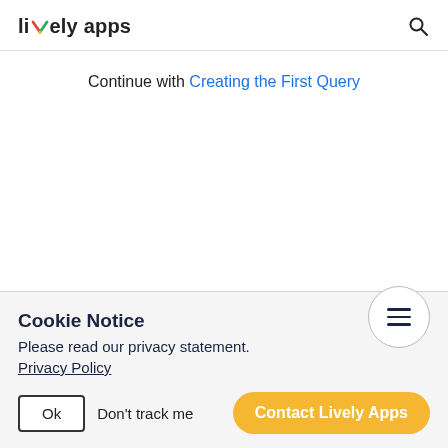lively apps
Continue with Creating the First Query
Cookie Notice
Please read our privacy statement.
Privacy Policy
Ok   Don't track me   Contact Lively Apps